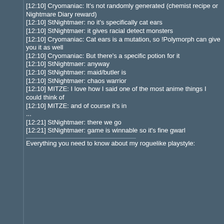[12:10] Cryomaniac: It's not randomly generated (chemist recipe or Nightmare Diary reward)
[12:10] StNightmaer: no it's specifically cat ears
[12:10] StNightmaer: it gives racial detect monsters
[12:10] Cryomaniac: Cat ears is a mutation, so !Polymorph can give you it as well
[12:10] Cryomaniac: But there's a specific potion for it
[12:10] StNightmaer: anyway
[12:10] StNightmaer: maid/butler is
[12:10] StNightmaer: chaos warrior
[12:10] MITZE: I love how I said one of the most anime things I could think of
[12:10] MITZE: and of course it's in
...
[12:21] StNightmaer: there we go
[12:21] StNightmaer: game is winnable so it's fine gwarl

Everything you need to know about my roguelike playstyle: